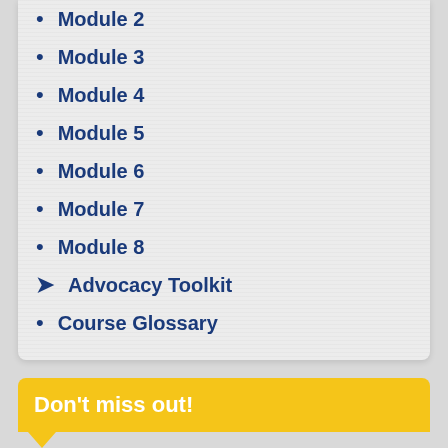Module 2
Module 3
Module 4
Module 5
Module 6
Module 7
Module 8
Advocacy Toolkit
Course Glossary
Don't miss out!
Subscribe to the World Animal Navigator to get monthly updates on our programs and resources! Browse past issues here.